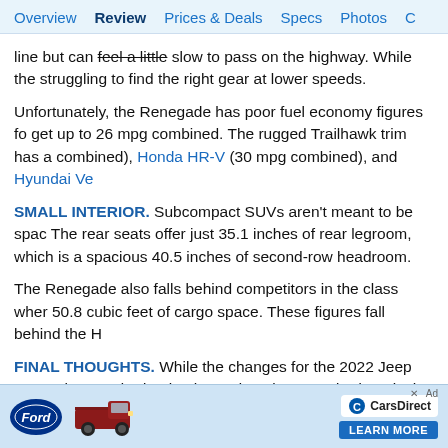Overview | Review | Prices & Deals | Specs | Photos | C
line but can feel a little slow to pass on the highway. While the struggling to find the right gear at lower speeds.
Unfortunately, the Renegade has poor fuel economy figures fo get up to 26 mpg combined. The rugged Trailhawk trim has a combined), Honda HR-V (30 mpg combined), and Hyundai Ve
SMALL INTERIOR. Subcompact SUVs aren't meant to be spac The rear seats offer just 35.1 inches of rear legroom, which is a spacious 40.5 inches of second-row headroom.
The Renegade also falls behind competitors in the class wher 50.8 cubic feet of cargo space. These figures fall behind the H
FINAL THOUGHTS. While the changes for the 2022 Jeep Rene The standard turbocharged engine, standard 8.4-inch touchsc attracts consumers looking for a rugged option first and foren
For a more upscale SUV that has a more powerful engine, pre equipped, the Honda HR-V is a family-friendly subcompact SU
[Figure (other): Ford advertisement banner with Ford logo, red pickup truck, CarsDirect logo, and LEARN MORE button]